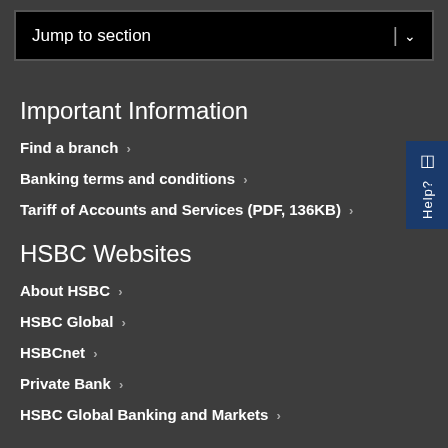Jump to section
Important Information
Find a branch >
Banking terms and conditions >
Tariff of Accounts and Services (PDF, 136KB) >
HSBC Websites
About HSBC >
HSBC Global >
HSBCnet >
Private Bank >
HSBC Global Banking and Markets >